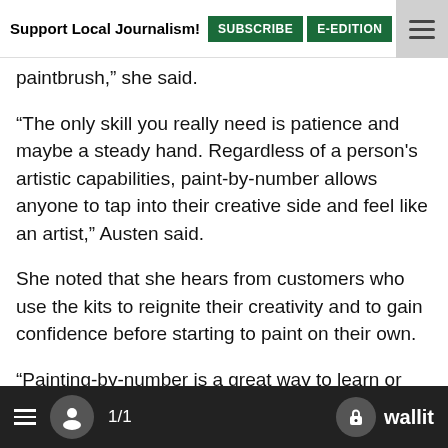Support Local Journalism! SUBSCRIBE E-EDITION NEWSLET
paintbrush," she said.
"The only skill you really need is patience and maybe a steady hand. Regardless of a person's artistic capabilities, paint-by-number allows anyone to tap into their creative side and feel like an artist," Austen said.
She noted that she hears from customers who use the kits to reignite their creativity and to gain confidence before starting to paint on their own.
"Painting-by-number is a great way to learn or refresh your brush skills, and to get a feel for how to create light and shadow. And the best thing about it is it can be done in bite-sized chunks."
Austen added, "Even though our kits can be completed in three to five hours, we encourage people to break their project up into several shorter painting sessions, so it feels manageable."
≡  👤  1/1    🔒 wallit